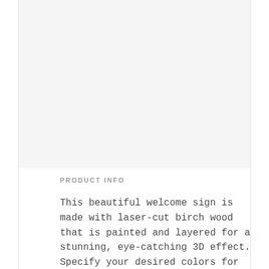[Figure (photo): Blank/white image area at the top of the product listing page]
PRODUCT INFO
This beautiful welcome sign is made with laser-cut birch wood that is painted and layered for a stunning, eye-catching 3D effect. Specify your desired colors for an extra personalized touch to your special day. This sign makes a wonderful wedding keepsake or wedding gift as well!! Customized with the names you provide in the Personalization box along with a date!!!!